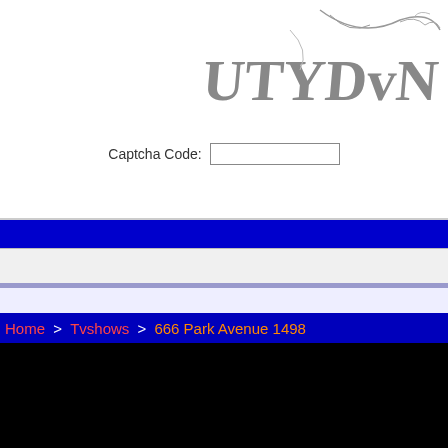[Figure (screenshot): CAPTCHA image showing distorted letters UTYDvN in gray on white background with branch-like decorations]
Captcha Code:
Submit Review
Home > Tvshows > 666 Park Avenue 1498
[Figure (logo): WorldTVPC logo showing a laptop with a TV screen image and film strip, with text WORLD TV PC in blue/red gradient]
More Services
XBMC Media Player Guide
Radio streams
Watch Classic Movies
TV Networks
Hardware
full episodes
Country search